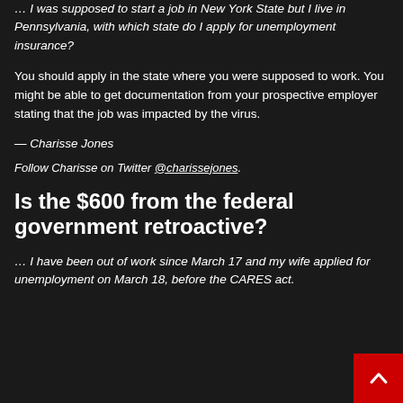… I was supposed to start a job in New York State but I live in Pennsylvania, with which state do I apply for unemployment insurance?
You should apply in the state where you were supposed to work. You might be able to get documentation from your prospective employer stating that the job was impacted by the virus.
— Charisse Jones
Follow Charisse on Twitter @charissejones.
Is the $600 from the federal government retroactive?
… I have been out of work since March 17 and my wife applied for unemployment on March 18, before the CARES act.